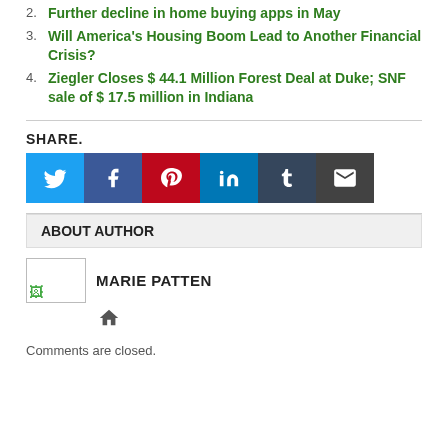2. Further decline in home buying apps in May
3. Will America’s Housing Boom Lead to Another Financial Crisis?
4. Ziegler Closes $ 44.1 Million Forest Deal at Duke; SNF sale of $ 17.5 million in Indiana
SHARE.
[Figure (infographic): Social share buttons: Twitter (blue), Facebook (dark blue), Pinterest (red), LinkedIn (light blue), Tumblr (dark navy), Email (dark gray)]
ABOUT AUTHOR
[Figure (photo): Author photo placeholder with broken image icon]
MARIE PATTEN
[Figure (other): Home icon]
Comments are closed.